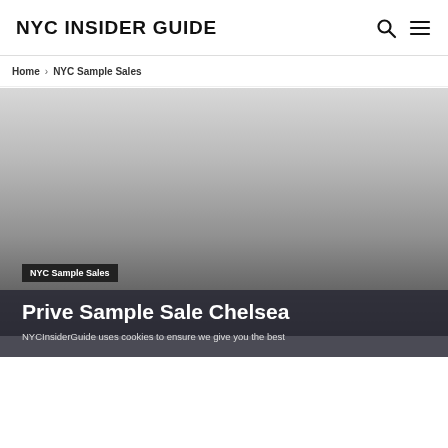NYC INSIDER GUIDE
Home › NYC Sample Sales
[Figure (photo): Gray gradient hero image background for Prive Sample Sale Chelsea article]
NYC Sample Sales
Prive Sample Sale Chelsea
NYCInsiderGuide uses cookies to ensure we give you the best